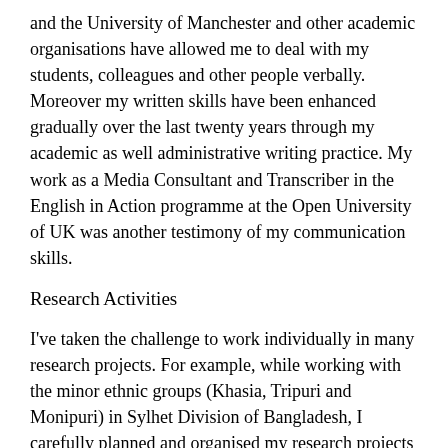and the University of Manchester and other academic organisations have allowed me to deal with my students, colleagues and other people verbally. Moreover my written skills have been enhanced gradually over the last twenty years through my academic as well administrative writing practice. My work as a Media Consultant and Transcriber in the English in Action programme at the Open University of UK was another testimony of my communication skills.
Research Activities
I've taken the challenge to work individually in many research projects. For example, while working with the minor ethnic groups (Khasia, Tripuri and Monipuri) in Sylhet Division of Bangladesh, I carefully planned and organised my research projects effectively and conducted many small focus groups (FG) discussion to obtain perceptions of a defined interest area. Conducting FGs in the permissive and non-threatening environment helped me to get a wider range of